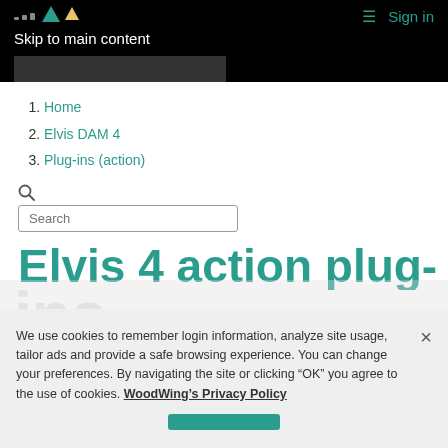Skip to main content | Sign in
1. Home
2. Elvis DAM 4
3. Plug-ins (action)
Elvis 4 action plug-
We use cookies to remember login information, analyze site usage, tailor ads and provide a safe browsing experience. You can change your preferences. By navigating the site or clicking “OK” you agree to the use of cookies. WoodWing’s Privacy Policy